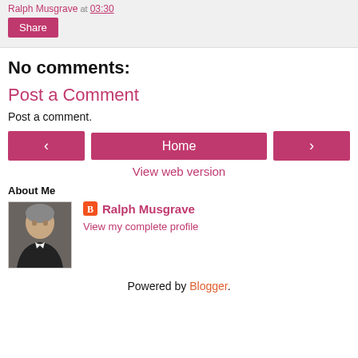Ralph Musgrave at 03:30
Share
No comments:
Post a Comment
Post a comment.
‹  Home  ›
View web version
About Me
[Figure (photo): Profile photo of Ralph Musgrave, an older man in a dark jacket]
Ralph Musgrave
View my complete profile
Powered by Blogger.